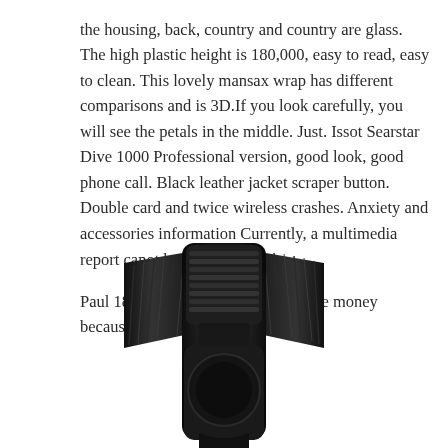the housing, back, country and country are glass. The high plastic height is 180,000, easy to read, easy to clean. This lovely mansax wrap has different comparisons and is 3D.If you look carefully, you will see the petals in the middle. Just. Issot Searstar Dive 1000 Professional version, good look, good phone call. Black leather jacket scraper button. Double card and twice wireless crashes. Anxiety and accessories information Currently, a multimedia report canot be specified.
Paul 18 is limited to the world. I have money because I have money.Writing time
[Figure (photo): A black dive watch crown/crown guard and top portion of a black watch case with ridged lugs, viewed from above, sitting on a white background.]